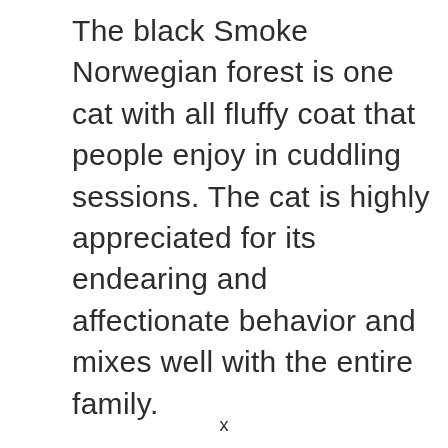The black Smoke Norwegian forest is one cat with all fluffy coat that people enjoy in cuddling sessions. The cat is highly appreciated for its endearing and affectionate behavior and mixes well with the entire family.
x